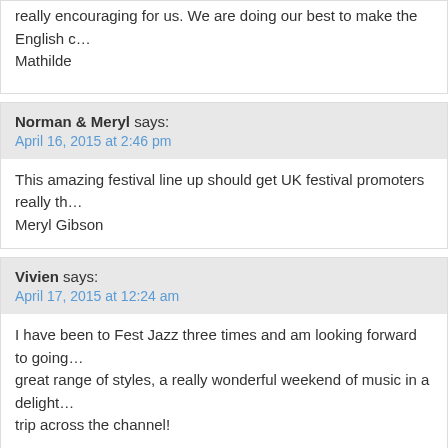really encouraging for us. We are doing our best to make the English c… Mathilde
Norman & Meryl says:
April 16, 2015 at 2:46 pm
This amazing festival line up should get UK festival promoters really th… Meryl Gibson
Vivien says:
April 17, 2015 at 12:24 am
I have been to Fest Jazz three times and am looking forward to going… great range of styles, a really wonderful weekend of music in a delight… trip across the channel!
Mike says:
May 18, 2015 at 8:04 pm